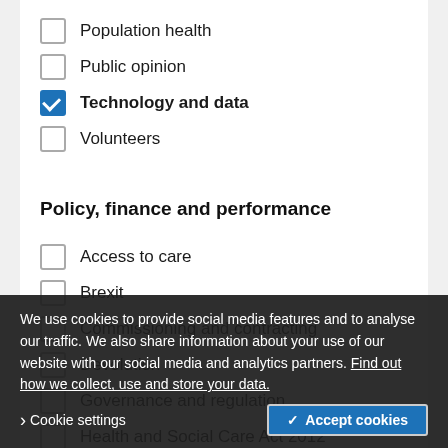Population health
Public opinion
Technology and data (checked)
Volunteers
Policy, finance and performance
Access to care
Brexit
Commissioning and contracting
Devolution
Governance and regulation
Health and Social Care Act 2012
NHS finances
Performance (partially visible)
Productivity (partially visible)
Social care finances
We use cookies to provide social media features and to analyse our traffic. We also share information about your use of our website with our social media and analytics partners. Find out how we collect, use and store your data.